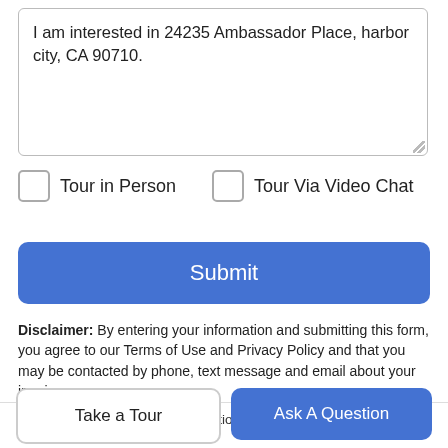I am interested in 24235 Ambassador Place, harbor city, CA 90710.
Tour in Person
Tour Via Video Chat
Submit
Disclaimer: By entering your information and submitting this form, you agree to our Terms of Use and Privacy Policy and that you may be contacted by phone, text message and email about your inquiry.
This information is deemed
Take a Tour
Ask A Question